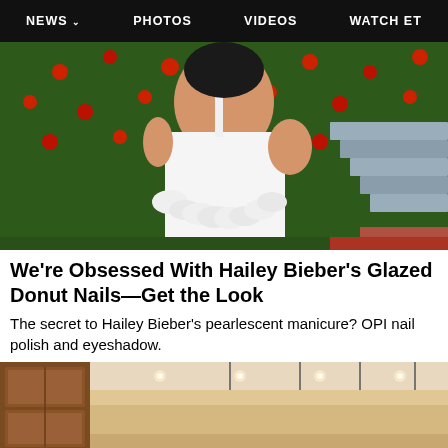NEWS  PHOTOS  VIDEOS  WATCH ET
[Figure (photo): Woman in white dress with feather trim standing in front of green hedge with red flowers and stone steps]
We're Obsessed With Hailey Bieber's Glazed Donut Nails—Get the Look
The secret to Hailey Bieber's pearlescent manicure? OPI nail polish and eyeshadow.
[Figure (photo): Kitchen interior with pendant lights and wood cabinetry]